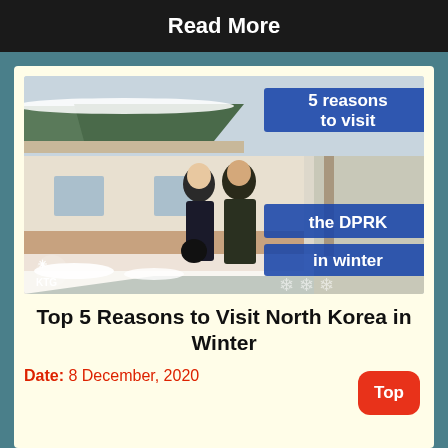Read More
[Figure (photo): Two people standing outside a traditional Korean building in winter. Overlaid blue text boxes read: '5 reasons to visit the DPRK in winter'. KTG logo in lower left. Snowflakes decorative elements lower right.]
Top 5 Reasons to Visit North Korea in Winter
Date: 8 December, 2020